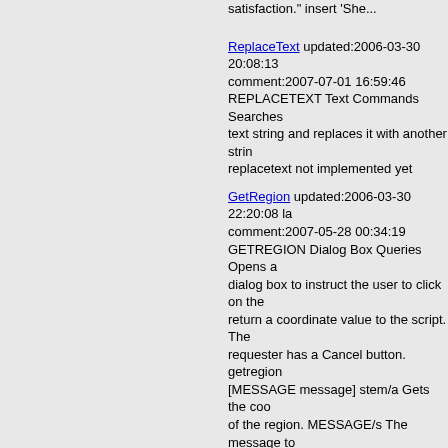satisfaction." insert 'She...
ReplaceText updated:2006-03-30 20:08:13 comment:2007-07-01 16:59:46 REPLACETEXT Text Commands Searches text string and replaces it with another string. replacetext not implemented yet
GetRegion updated:2006-03-30 22:20:08 last comment:2007-05-28 00:34:19 GETREGION Dialog Box Queries Opens a dialog box to instruct the user to click on the return a coordinate value to the script. The requester has a Cancel button. getregion [MESSAGE message] stem/a Gets the coordinate of the region. MESSAGE/s The message to show in the dialog box. Max length=55. Results: M
CreateList updated:2006-09-14 09:43:23 last comment:2007-05-28 00:33:58 Gets the {...} . listh = CreateList () Parameters Results: Notes: See Also: AlertRequester, AppendListString, CloseResource, CreateLanguageEngineList, CreateRequester, DoLanguageEngineFormatDate, DoLanguageEngineLocalizeString, DoRequester, FreeLanguageEngineList, FreeList, FreeResource, GetCmdStringFromCoord, GetControlAttr, GetCoordFromString,...